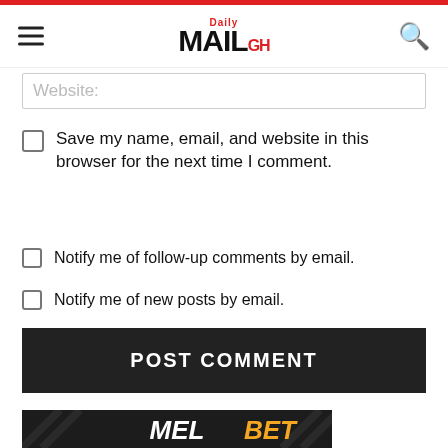Daily MAIL GH
Website:
Save my name, email, and website in this browser for the next time I comment.
Notify me of follow-up comments by email.
Notify me of new posts by email.
POST COMMENT
[Figure (logo): MELBET logo on dark background with diagonal slash design]